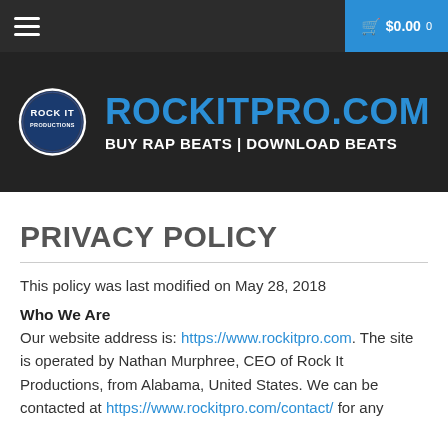≡   $0.00 0
[Figure (logo): Rock It Productions logo circle with ROCKITPRO.COM and BUY RAP BEATS | DOWNLOAD BEATS text]
PRIVACY POLICY
This policy was last modified on May 28, 2018
Who We Are
Our website address is: https://www.rockitpro.com. The site is operated by Nathan Murphree, CEO of Rock It Productions, from Alabama, United States. We can be contacted at https://www.rockitpro.com/contact/ for any